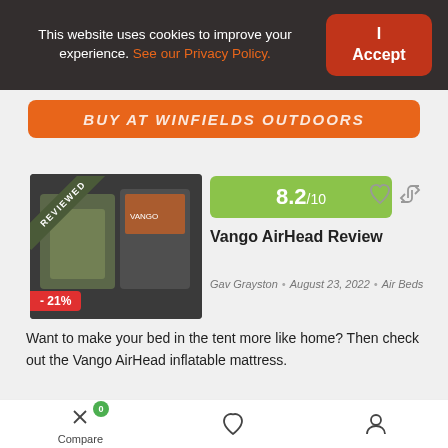This website uses cookies to improve your experience. See our Privacy Policy.
I Accept
[Figure (screenshot): Orange button with text 'BUY AT WINFIELDS OUTDOORS']
[Figure (photo): Product photo of Vango AirHead inflatable mattress with REVIEWED ribbon and -21% discount badge]
8.2/10
Vango AirHead Review
Gav Grayston • August 23, 2022 • Air Beds
Want to make your bed in the tent more like home? Then check out the Vango AirHead inflatable mattress.
[Figure (other): Star rating: 3.5 out of 5 stars]
Compare